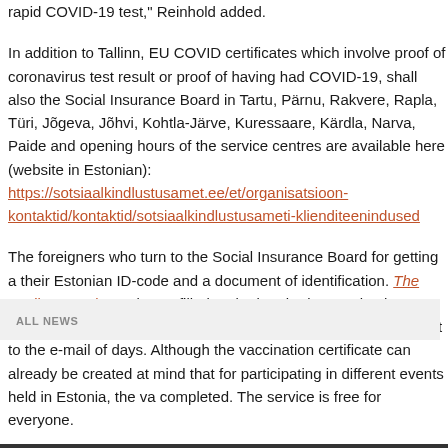rapid COVID-19 test," Reinhold added.
In addition to Tallinn, EU COVID certificates which involve proof of coronavirus test result or proof of having had COVID-19, shall also the Social Insurance Board in Tartu, Pärnu, Rakvere, Rapla, Türi, Jõgeva, Jõhvi, Kohtla-Järve, Kuressaare, Kärdla, Narva, Paide and opening hours of the service centres are available here (website in Estonian): https://sotsiaalkindlustusamet.ee/et/organisatsioon-kontaktid/kontaktid/sotsiaalkindlustusameti-klienditeenindused
The foreigners who turn to the Social Insurance Board for getting a their Estonian ID-code and a document of identification. The application (DOCX) may be prefilled and printed. Please take the application to convenience. The EU COVID certificate will be sent to the e-mail of days. Although the vaccination certificate can already be created at mind that for participating in different events held in Estonia, the vaccination must be completed. The service is free for everyone.
ALL NEWS